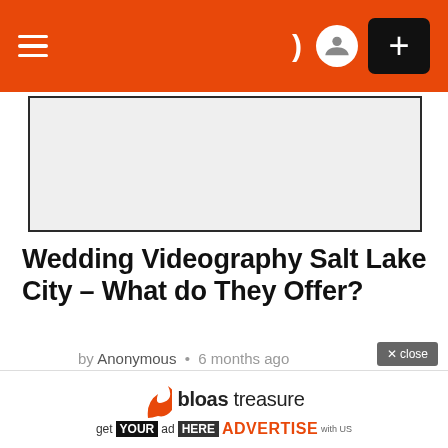Navigation bar with menu icon, moon/dark mode icon, user icon, and plus button
[Figure (other): Top image placeholder box with light gray background and dark border]
Wedding Videography Salt Lake City – What do They Offer?
by Anonymous • 6 months ago
[Figure (other): Main article image placeholder box with light gray background and dark border]
[Figure (other): Advertisement overlay: bloas treasure logo with text 'get YOUR ad HERE ADVERTISE with US']